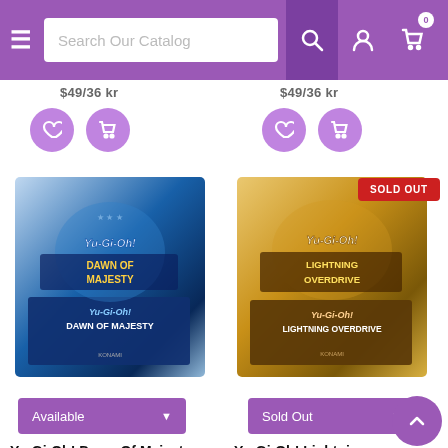[Figure (screenshot): E-commerce website header with purple navigation bar containing hamburger menu, search box labeled 'Search Our Catalog', search icon button, account icon, and cart icon with badge showing 0]
$49/36 kr (partially visible, left product price)
$49/36 kr (partially visible, right product price)
[Figure (photo): Yu-Gi-Oh! Dawn of Majesty Booster Box product image, blue-themed packaging]
[Figure (photo): Yu-Gi-Oh! Lightning Overdrive Booster Box product image, gold/brown-themed packaging, with SOLD OUT badge]
Available
Sold Out
Yu-Gi-Oh! Dawn Of Majesty Booster Box
Yu-Gi-Oh! Lightning Overdrive Booster Box